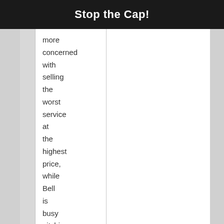Stop the Cap!
more concerned with selling the worst service at the highest price, while Bell is busy pitching you on